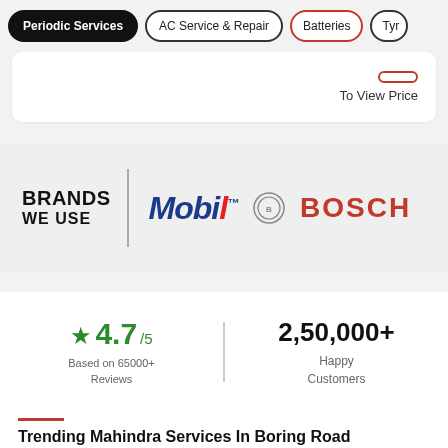Periodic Services | AC Service & Repair | Batteries | Tyr
To View Price
[Figure (logo): Brands We Use section with Mobil and Bosch logos]
4.7/5 Based on 65000+ Reviews
2,50,000+ Happy Customers
Trending Mahindra Services In Boring Road